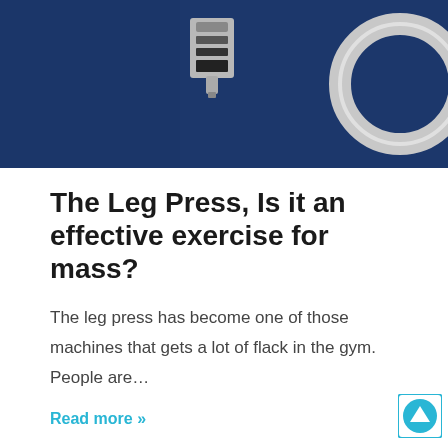[Figure (photo): Gym equipment photo with dark blue background showing weight machine parts including a silver circular weight plate and black metal components]
The Leg Press, Is it an effective exercise for mass?
The leg press has become one of those machines that gets a lot of flack in the gym. People are…
Read more »
Ben Sanderson   February 19, 2016